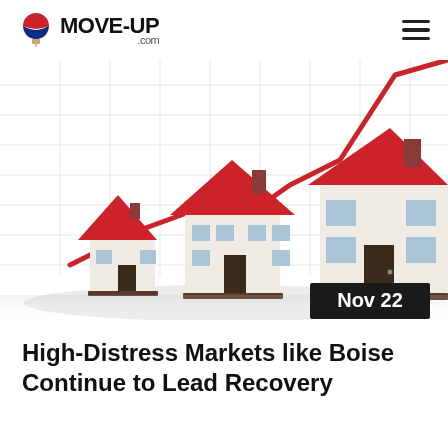MOVE-UP .com
[Figure (illustration): Three white model houses with red roofs of increasing size arranged left to right, in front of a grid background with a rising red line chart going up to the top right corner. Date badge 'Nov 22' in bottom right corner.]
High-Distress Markets like Boise Continue to Lead Recovery